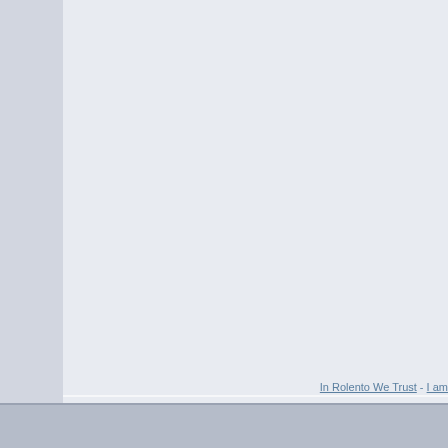[Figure (screenshot): A screenshot of a web page or application interface showing two side-by-side panel areas with light gray/blue backgrounds, separated by a vertical divider line. The panels appear mostly empty/blank. At the bottom right, partially visible link text reads 'In Rolento We Trust - I am' with dotted underlines. A darker gray footer bar appears at the very bottom of the image.]
In Rolento We Trust - I am